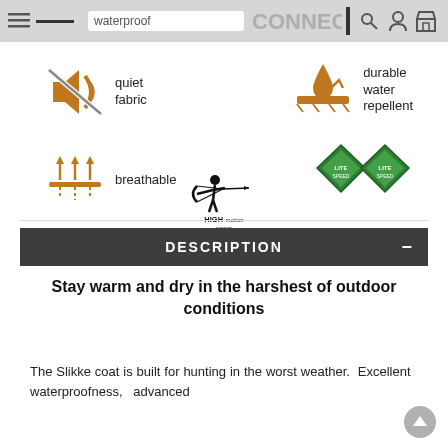waterproof CONNECT
[Figure (infographic): Four feature icons: quiet fabric (muted speaker icon), durable water repellent (water droplet on surface icon), breathable (upward arrows through surface icon), and two green diamond certification logos]
[Figure (logo): HIGH-motion system logo with archer silhouette]
DESCRIPTION
Stay warm and dry in the harshest of outdoor conditions
The Slikke coat is built for hunting in the worst weather. Excellent waterproofness, advanced